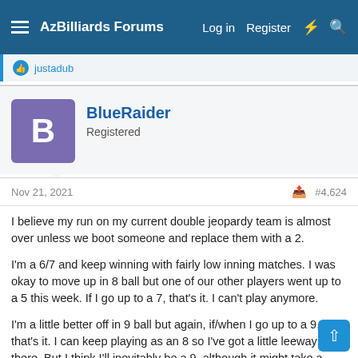AzBilliards Forums  Log in  Register
justadub
BlueRaider
Registered
Nov 21, 2021  #4,624
I believe my run on my current double jeopardy team is almost over unless we boot someone and replace them with a 2.

I'm a 6/7 and keep winning with fairly low inning matches. I was okay to move up in 8 ball but one of our other players went up to a 5 this week. If I go up to a 7, that's it. I can't play anymore.

I'm a little better off in 9 ball but again, if/when I go up to a 9, that's it. I can keep playing as an 8 so I've got a little leeway there. But I think I'll inevitably be a 9, although it might take a while to get there.